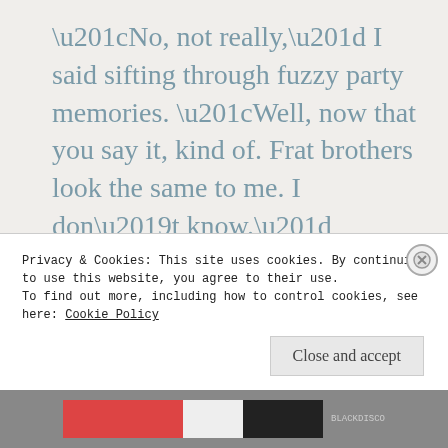“No, not really,” I said sifting through fuzzy party memories. “Well, now that you say it, kind of. Frat brothers look the same to me. I don’t know.”
I thought about Dillon. Then I thought of the Sigma guys that dissected the plot of ‘Fiddler on the Roof’ with me until 2AM. I would sooner date a Sigma. Or then again
Privacy & Cookies: This site uses cookies. By continuing to use this website, you agree to their use.
To find out more, including how to control cookies, see here: Cookie Policy
Close and accept